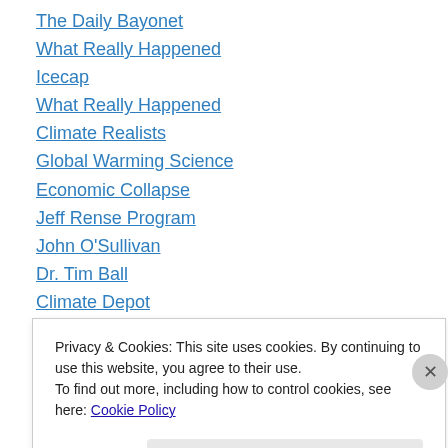The Daily Bayonet
What Really Happened
Icecap
What Really Happened
Climate Realists
Global Warming Science
Economic Collapse
Jeff Rense Program
John O'Sullivan
Dr. Tim Ball
Climate Depot
Insane Minds
Watts Up With That?
Privacy & Cookies: This site uses cookies. By continuing to use this website, you agree to their use.
To find out more, including how to control cookies, see here: Cookie Policy
Close and accept